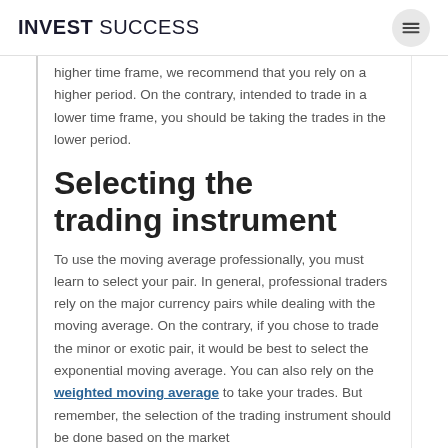INVEST SUCCESS
higher time frame, we recommend that you rely on a higher period. On the contrary, intended to trade in a lower time frame, you should be taking the trades in the lower period.
Selecting the trading instrument
To use the moving average professionally, you must learn to select your pair. In general, professional traders rely on the major currency pairs while dealing with the moving average. On the contrary, if you chose to trade the minor or exotic pair, it would be best to select the exponential moving average. You can also rely on the weighted moving average to take your trades. But remember, the selection of the trading instrument should be done based on the market